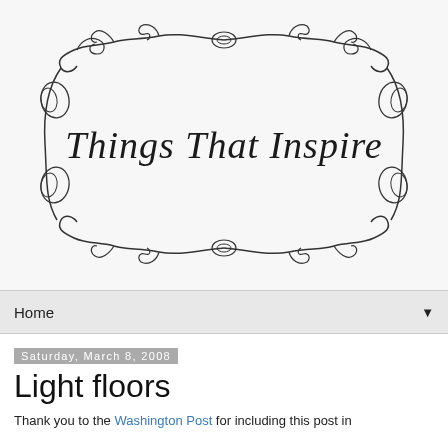[Figure (logo): Decorative ornamental frame with scrollwork and cursive script text reading 'Things That Inspire']
Home ▼
Saturday, March 8, 2008
Light floors
Thank you to the Washington Post for including this post in